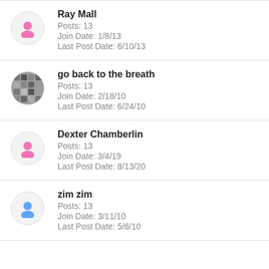Ray Mall | Posts: 13 | Join Date: 1/8/13 | Last Post Date: 6/10/13
go back to the breath | Posts: 13 | Join Date: 2/18/10 | Last Post Date: 6/24/10
Dexter Chamberlin | Posts: 13 | Join Date: 3/4/19 | Last Post Date: 8/13/20
zim zim | Posts: 13 | Join Date: 3/11/10 | Last Post Date: 5/6/10